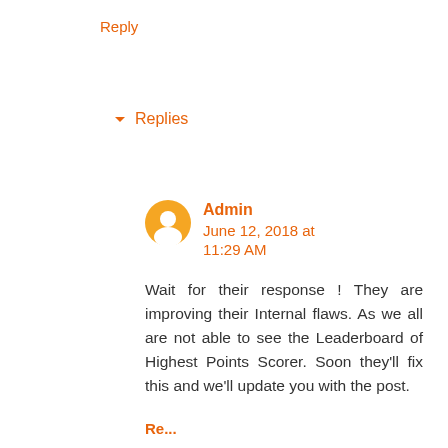Reply
▾ Replies
Admin   June 12, 2018 at 11:29 AM
Wait for their response ! They are improving their Internal flaws. As we all are not able to see the Leaderboard of Highest Points Scorer. Soon they'll fix this and we'll update you with the post.
Re...